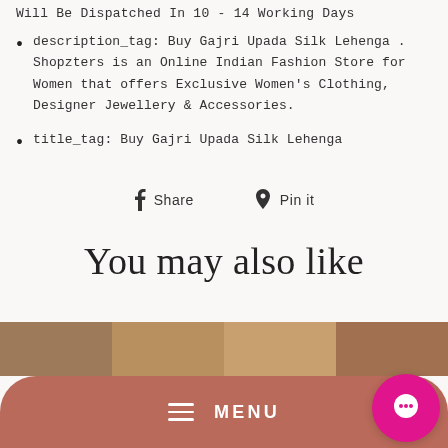Will Be Dispatched In 10 - 14 Working Days
description_tag: Buy Gajri Upada Silk Lehenga . Shopzters is an Online Indian Fashion Store for Women that offers Exclusive Women's Clothing, Designer Jewellery & Accessories.
title_tag: Buy Gajri Upada Silk Lehenga
Share   Pin it
You may also like
[Figure (photo): Photo strip showing product images at the bottom of the page]
MENU